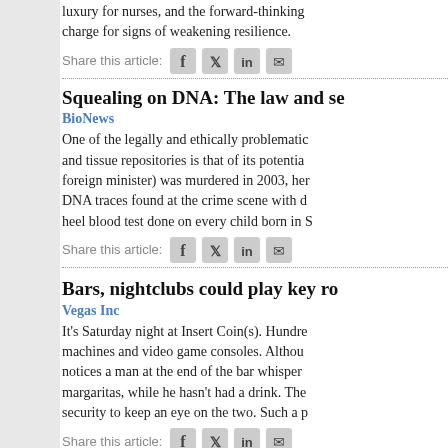luxury for nurses, and the forward-thinking charge for signs of weakening resilience.
Share this article:
Squealing on DNA: The law and se
BioNews
One of the legally and ethically problematic and tissue repositories is that of its potentia foreign minister) was murdered in 2003, her DNA traces found at the crime scene with d heel blood test done on every child born in S
Share this article:
Bars, nightclubs could play key ro
Vegas Inc
It's Saturday night at Insert Coin(s). Hundre machines and video game consoles. Althou notices a man at the end of the bar whisper margaritas, while he hasn't had a drink. The security to keep an eye on the two. Such a p
Share this article:
House Sexual Assault Awareness
NAESV